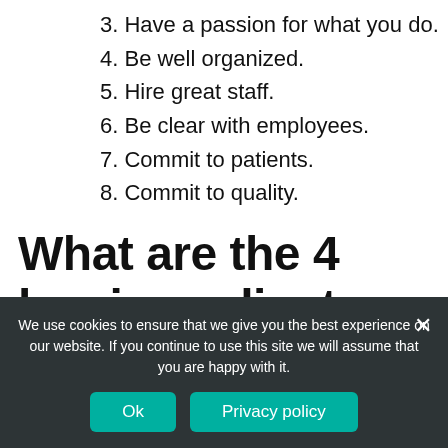3. Have a passion for what you do.
4. Be well organized.
5. Hire great staff.
6. Be clear with employees.
7. Commit to patients.
8. Commit to quality.
What are the 4 key ingredients for effective leadership?
We use cookies to ensure that we give you the best experience on our website. If you continue to use this site we will assume that you are happy with it.